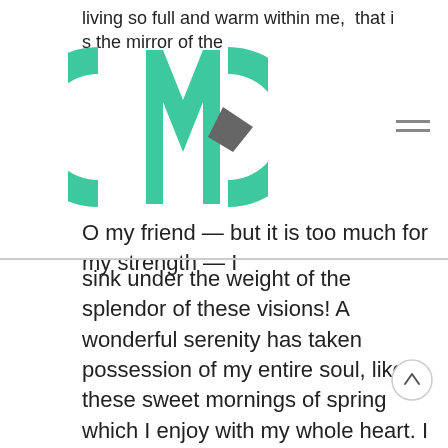living so full and warm within me, that it might be … s the mirror of the
[Figure (logo): CMC logo with teal/green stylized letters C, M, C and a dark grey diamond/arrow shape on the right side]
O my friend — but it is too much for my strength — I sink under the weight of the splendor of these visions! A wonderful serenity has taken possession of my entire soul, like these sweet mornings of spring which I enjoy with my whole heart. I am alone, and feel the charm of existence in this spot, which was created for the bliss of souls like mine.
I am so happy, my dear friend, so absorbed in the exquisite sense of mere tranquil existence, that I neglect my talents. I should be incapable of drawing a single stroke at the present moment; and yet I feel that I never was a greater artist than now.
When, while the lovely valley teems with vapor around me, and the meridian sun strikes the upper